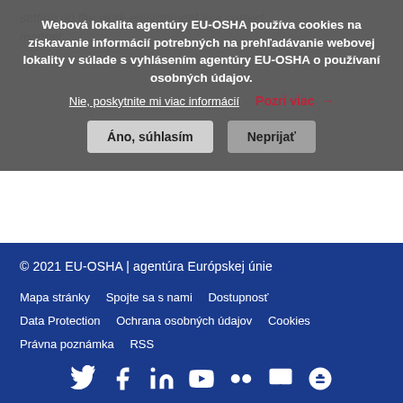setting up the work environment in a correct manner
Webová lokalita agentúry EU-OSHA používa cookies na získavanie informácií potrebných na prehľadávanie webovej lokality v súlade s vyhlásením agentúry EU-OSHA o používaní osobných údajov.
Nie, poskytnite mi viac informácií
Pozri viac →
Áno, súhlasím
Neprijať
1  2  >  >>
© 2021 EU-OSHA | agentúra Európskej únie
Mapa stránky   Spojte sa s nami   Dostupnosť
Data Protection   Ochrana osobných údajov   Cookies
Právna poznámka   RSS